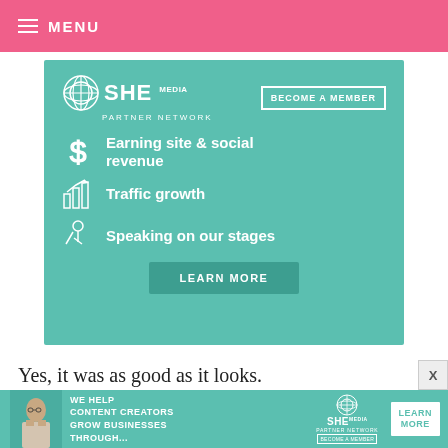MENU
[Figure (infographic): SHE Media Partner Network advertisement banner in teal/mint color. Features SHE Media logo with 'BECOME A MEMBER' button, and three benefit bullet points with icons: 'Earning site & social revenue' (dollar sign icon), 'Traffic growth' (bar chart icon), 'Speaking on our stages' (microphone icon). Has a 'LEARN MORE' button at the bottom.]
Yes, it was as good as it looks.
The recipe made enough for two loaves, so on the
[Figure (infographic): SHE Media Partner Network bottom banner advertisement in teal color with photo of woman, text 'WE HELP CONTENT CREATORS GROW BUSINESSES THROUGH...' and 'LEARN MORE' button.]